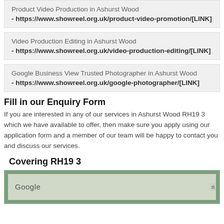Product Video Production in Ashurst Wood
- https://www.showreel.org.uk/product-video-promotion/[LINK]
Video Production Editing in Ashurst Wood
- https://www.showreel.org.uk/video-production-editing/[LINK]
Google Business View Trusted Photographer in Ashurst Wood
- https://www.showreel.org.uk/google-photographer/[LINK]
Fill in our Enquiry Form
If you are interested in any of our services in Ashurst Wood RH19 3 which we have available to offer, then make sure you apply using our application form and a member of our team will be happy to contact you and discuss our services.
Covering RH19 3
[Figure (map): Google map showing coverage of RH19 3 area with green border and Google logo visible]